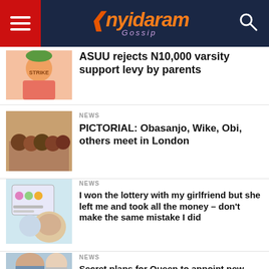Nyidaram Gossip
ASUU rejects N10,000 varsity support levy by parents
NEWS
PICTORIAL: Obasanjo, Wike, Obi, others meet in London
NEWS
I won the lottery with my girlfriend but she left me and took all the money – don't make the same mistake I did
NEWS
Secret plans for Queen to appoint new Prime Minister at Balmoral in historic first as she is 'suffering with mobility'